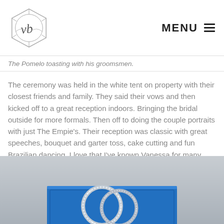vb | MENU
The Pomelo toasting with his groomsmen.
The ceremony was held in the white tent on property with their closest friends and family. They said their vows and then kicked off to a great reception indoors. Bringing the bridal outside for more formals. Then off to doing the couple portraits with just The Empie's. Their reception was classic with great speeches, bouquet and garter toss, cake cutting and fun Brazilian dancing. I love that I've known Vanessa for many years and it made it so fun getting to see my friend so happy. Check out their amazing day below.
[Figure (photo): Wedding rings (diamond band and plain band) resting on a royal blue leather ring box, viewed from above at an angle.]